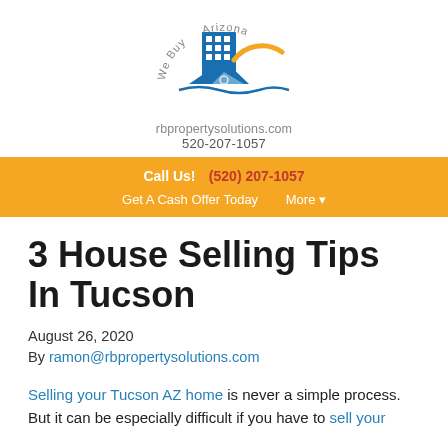[Figure (logo): RB Property Solutions logo: blue building icon with mountains and orange sun arc, circular text 'We Buy Arizona' around top]
rbpropertysolutions.com
520-207-1057
Call Us!  (520) 207-1057
Get A Cash Offer Today   More ▾
3 House Selling Tips In Tucson
August 26, 2020
By ramon@rbpropertysolutions.com
Selling your Tucson AZ home is never a simple process. But it can be especially difficult if you have to sell your